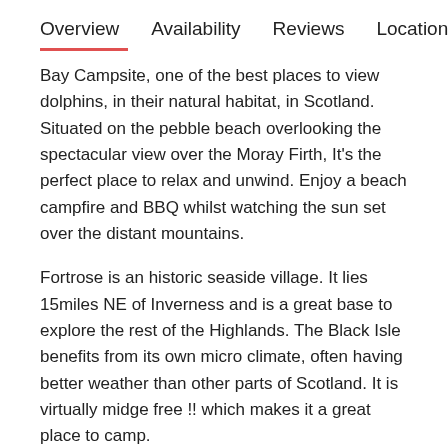Overview   Availability   Reviews   Location
Bay Campsite, one of the best places to view dolphins, in their natural habitat, in Scotland. Situated on the pebble beach overlooking the spectacular view over the Moray Firth, It's the perfect place to relax and unwind. Enjoy a beach campfire and BBQ whilst watching the sun set over the distant mountains.
Fortrose is an historic seaside village. It lies 15miles NE of Inverness and is a great base to explore the rest of the Highlands. The Black Isle benefits from its own micro climate, often having better weather than other parts of Scotland. It is virtually midge free !! which makes it a great place to camp.
The Black Isle is actually a peninsula, rather than an island, running from Beauly to Cromarty at the tip. It is flanked by the Moray and Cromarty firths. It isn't certain where it gets its name from, some say its because the soil is so dark, others because the snow rarely settles on